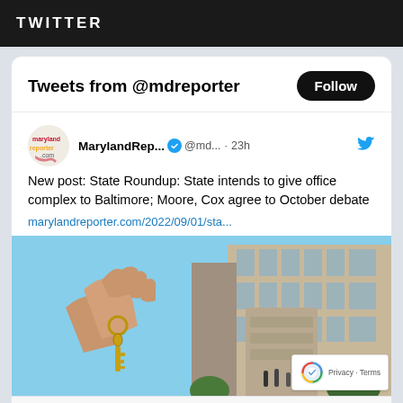TWITTER
Tweets from @mdreporter
MarylandRep... @md... · 23h
New post: State Roundup: State intends to give office complex to Baltimore; Moore, Cox agree to October debate
marylandreporter.com/2022/09/01/sta...
[Figure (photo): A hand holding keys in front of a large office building complex]
marylandreporter.com
State Roundup: State intends to give office complex to Baltimore; ...